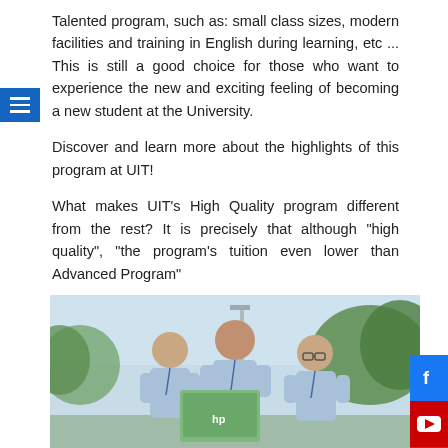Talented program, such as: small class sizes, modern facilities and training in English during learning, etc ... This is still a good choice for those who want to experience the new and exciting feeling of becoming a new student at the University.
Discover and learn more about the highlights of this program at UIT!
What makes UIT's High Quality program different from the rest? It is precisely that although "high quality", "the program's tuition even lower than Advanced Program"
[Figure (photo): Three male students in light blue polo shirts looking at an HP laptop together outdoors on a university campus, with trees and buildings in the background.]